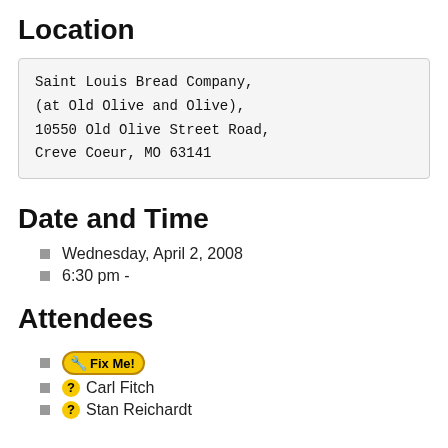Location
Saint Louis Bread Company,
(at Old Olive and Olive),
10550 Old Olive Street Road,
Creve Coeur, MO 63141
Date and Time
Wednesday, April 2, 2008
6:30 pm -
Attendees
Fix Me!
Carl Fitch
Stan Reichardt